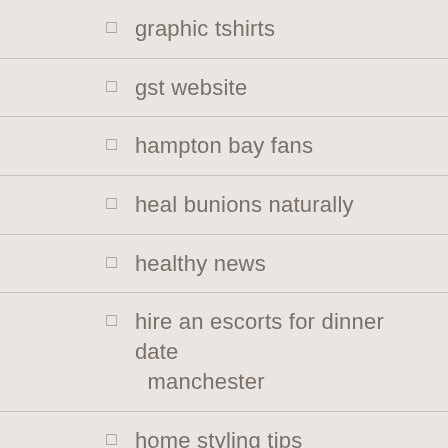graphic tshirts
gst website
hampton bay fans
heal bunions naturally
healthy news
hire an escorts for dinner date manchester
home styling tips